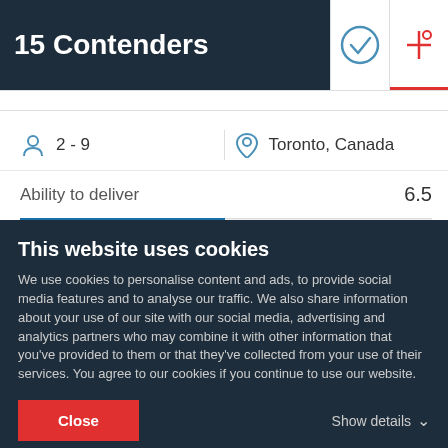15 Contenders
2 - 9
Toronto, Canada
Ability to deliver
6.5
5.6
Clients & experience
This website uses cookies
We use cookies to personalise content and ads, to provide social media features and to analyse our traffic. We also share information about your use of our site with our social media, advertising and analytics partners who may combine it with other information that you've provided to them or that they've collected from your use of their services. You agree to our cookies if you continue to use our website.
Close
Show details